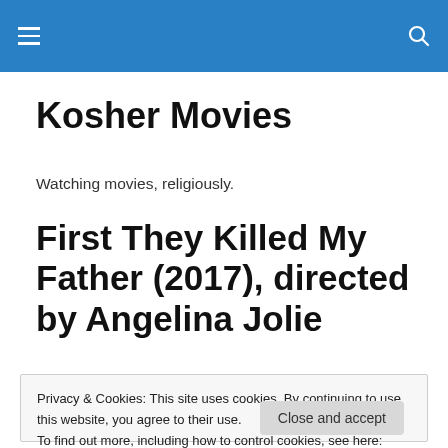Kosher Movies [navigation bar with hamburger menu and search icon]
Kosher Movies
Watching movies, religiously.
First They Killed My Father (2017), directed by Angelina Jolie
Privacy & Cookies: This site uses cookies. By continuing to use this website, you agree to their use.
To find out more, including how to control cookies, see here: Cookie Policy
Close and accept